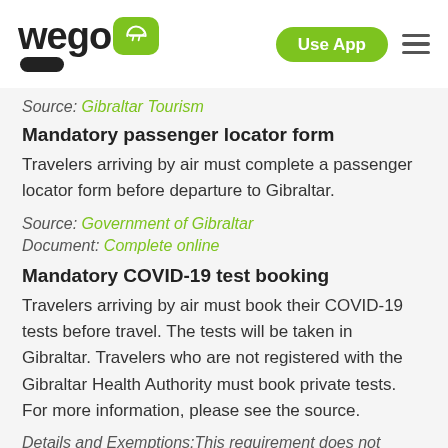wego [logo] | Use App | menu
Source: Gibraltar Tourism
Mandatory passenger locator form
Travelers arriving by air must complete a passenger locator form before departure to Gibraltar.
Source: Government of Gibraltar
Document: Complete online
Mandatory COVID-19 test booking
Travelers arriving by air must book their COVID-19 tests before travel. The tests will be taken in Gibraltar. Travelers who are not registered with the Gibraltar Health Authority must book private tests. For more information, please see the source.
Details and Exemptions:This requirement does not